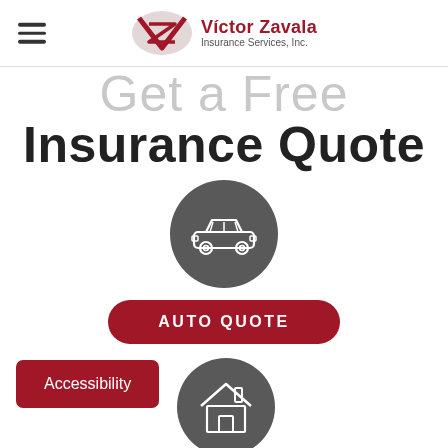Víctor Zavala Insurance Services, Inc.
Get a Free Insurance Quote
[Figure (illustration): Dark grey circle icon with a car silhouette outline]
AUTO QUOTE
Accessibility
[Figure (illustration): Dark grey circle icon with a house silhouette outline]